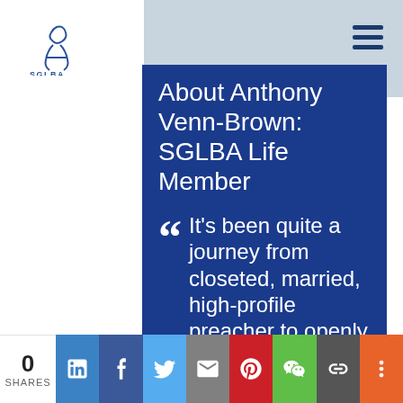[Figure (logo): SGLBA organization logo, blue text and figure mark]
About Anthony Venn-Brown: SGLBA Life Member
“ It’s been quite a journey from closeted, married, high-profile preacher to openly gay
0 SHARES
[Figure (infographic): Social share bar with LinkedIn, Facebook, Twitter, Email, Pinterest, WeChat, Link, and More buttons]